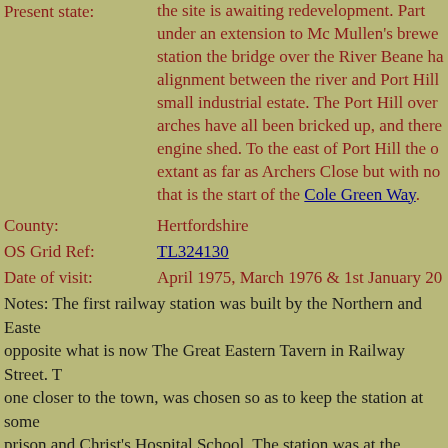Present state: the site is awaiting redevelopment. Part under an extension to Mc Mullen's brewery station the bridge over the River Beane ha alignment between the river and Port Hill small industrial estate. The Port Hill over arches have all been bricked up, and there engine shed. To the east of Port Hill the o extant as far as Archers Close but with no that is the start of the Cole Green Way.
County: Hertfordshire
OS Grid Ref: TL324130
Date of visit: April 1975, March 1976 & 1st January 20
Notes: The first railway station was built by the Northern and Easter opposite what is now The Great Eastern Tavern in Railway Street. T one closer to the town, was chosen so as to keep the station at some prison and Christ's Hospital School. The station was at the terminus from the London-Cambridge railway at Broxbourne. This station wa in 1923.
In 1858 a second station was built at Cowbridge with the branch fro Railway from Welwyn. The station was adjacent to Mc Mullen's Br wide spur off Hartham Lane, which still exists today. Although this called Hertford it was more usually known as Cowbridge and is eve timetables, although not on tickets. In 1888 a link to the first station used only for goods traffic and never had a passenger service.